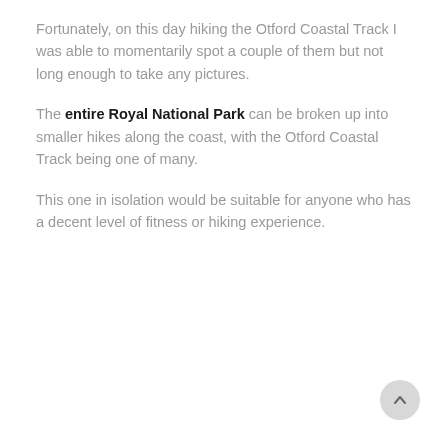Fortunately, on this day hiking the Otford Coastal Track I was able to momentarily spot a couple of them but not long enough to take any pictures.
The entire Royal National Park can be broken up into smaller hikes along the coast, with the Otford Coastal Track being one of many.
This one in isolation would be suitable for anyone who has a decent level of fitness or hiking experience.